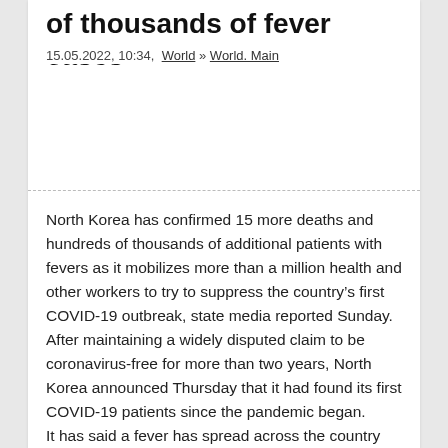of thousands of fever cases
15.05.2022, 10:34,  World » World. Main
North Korea has confirmed 15 more deaths and hundreds of thousands of additional patients with fevers as it mobilizes more than a million health and other workers to try to suppress the country's first COVID-19 outbreak, state media reported Sunday. After maintaining a widely disputed claim to be coronavirus-free for more than two years, North Korea announced Thursday that it had found its first COVID-19 patients since the pandemic began. It has said a fever has spread across the country “explosively” since late April but hasn’t disclosed exactly how many COVID-19 cases it has found. Some experts